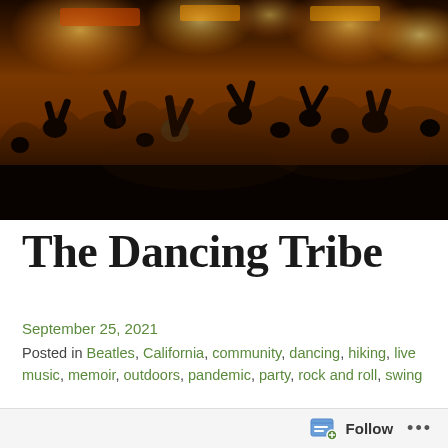[Figure (photo): A large outdoor crowd of people dancing and raising their arms at night, with warm orange and yellow lights illuminating storefronts in the background. The scene appears to be a street party or outdoor concert.]
The Dancing Tribe
September 25, 2021
Posted in Beatles, California, community, dancing, hiking, live music, memoir, outdoors, pandemic, party, rock and roll, swing
Follow ...